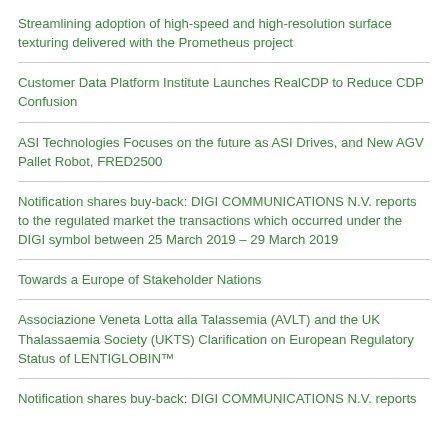Streamlining adoption of high-speed and high-resolution surface texturing delivered with the Prometheus project
Customer Data Platform Institute Launches RealCDP to Reduce CDP Confusion
ASI Technologies Focuses on the future as ASI Drives, and New AGV Pallet Robot, FRED2500
Notification shares buy-back: DIGI COMMUNICATIONS N.V. reports to the regulated market the transactions which occurred under the DIGI symbol between 25 March 2019 – 29 March 2019
Towards a Europe of Stakeholder Nations
Associazione Veneta Lotta alla Talassemia (AVLT) and the UK Thalassaemia Society (UKTS) Clarification on European Regulatory Status of LENTIGLOBIN™
Notification shares buy-back: DIGI COMMUNICATIONS N.V. reports